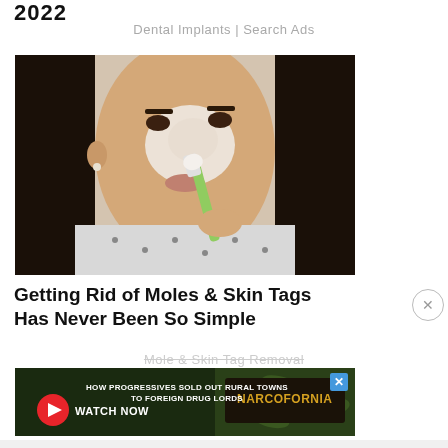2022
Dental Implants | Search Ads
[Figure (photo): A young woman applying a white cream or paste to her nose and face using a green and white toothbrush, looking into the camera. She appears to be doing a DIY skin treatment.]
Getting Rid of Moles & Skin Tags Has Never Been So Simple
Mole & Skin Tag Removal
[Figure (photo): Advertisement banner for Narcofornia documentary. Text reads: HOW PROGRESSIVES SOLD OUT RURAL TOWNS TO FOREIGN DRUG LORDS. Has a red play button with WATCH NOW text and a Narcofornia logo on green cannabis leaves background.]